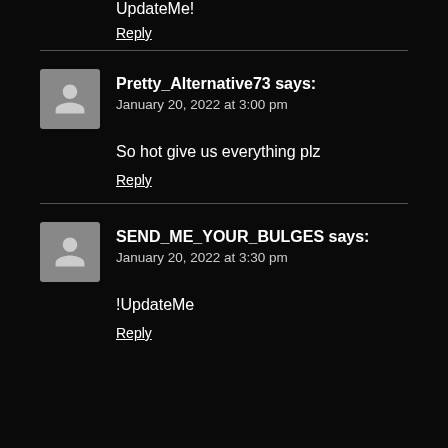UpdateMe!
Reply
Pretty_Alternative73 says:
January 20, 2022 at 3:00 pm
So hot give us everything plz
Reply
SEND_ME_YOUR_BULGES says:
January 20, 2022 at 3:30 pm
!UpdateMe
Reply